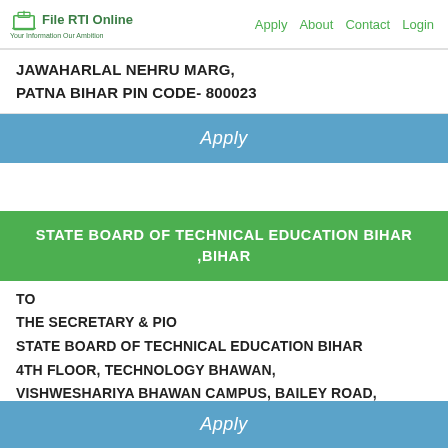File RTI Online — Apply  About  Contact  Login
JAWAHARLAL NEHRU MARG,
PATNA BIHAR PIN CODE- 800023
Apply
STATE BOARD OF TECHNICAL EDUCATION BIHAR ,BIHAR
TO
THE SECRETARY & PIO
STATE BOARD OF TECHNICAL EDUCATION BIHAR
4TH FLOOR, TECHNOLOGY BHAWAN,
VISHWESHARIYA BHAWAN CAMPUS, BAILEY ROAD,
PATNA BIHAR – 800015
Apply